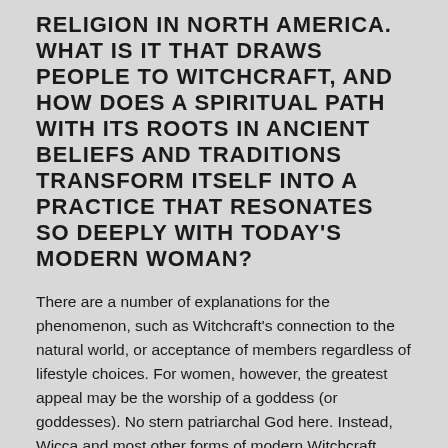RELIGION IN NORTH AMERICA. WHAT IS IT THAT DRAWS PEOPLE TO WITCHCRAFT, AND HOW DOES A SPIRITUAL PATH WITH ITS ROOTS IN ANCIENT BELIEFS AND TRADITIONS TRANSFORM ITSELF INTO A PRACTICE THAT RESONATES SO DEEPLY WITH TODAY'S MODERN WOMAN?
There are a number of explanations for the phenomenon, such as Witchcraft's connection to the natural world, or acceptance of members regardless of lifestyle choices. For women, however, the greatest appeal may be the worship of a goddess (or goddesses). No stern patriarchal God here. Instead, Wicca and most other forms of modern Witchcraft embrace deity in both the feminine and the masculine. Suddenly, women can look at the divine and see themselves reflected back.